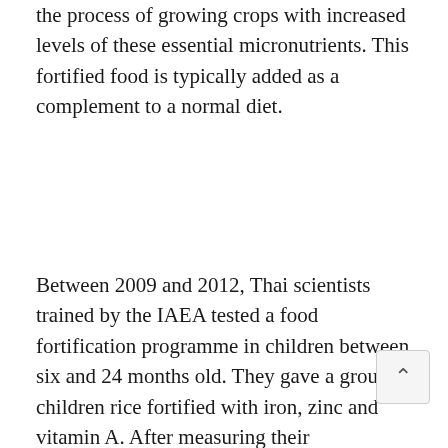the process of growing crops with increased levels of these essential micronutrients. This fortified food is typically added as a complement to a normal diet.
Between 2009 and 2012, Thai scientists trained by the IAEA tested a food fortification programme in children between six and 24 months old. They gave a group of children rice fortified with iron, zinc and vitamin A. After measuring their micronutrient reserves using isotopic techniques (see Isotopic techniques and nutrition in children), they found that children who consumed the fortified rice had a significant increase in iron, zinc and vitamin A reserves, contrast to the control group. They used a